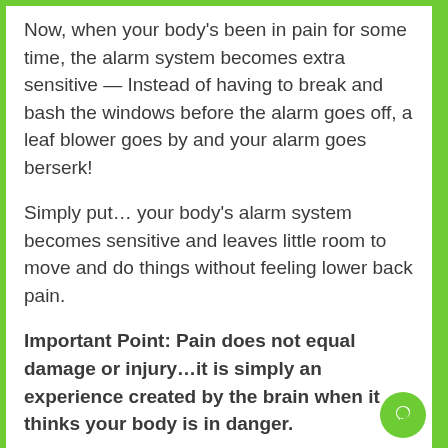Now, when your body's been in pain for some time, the alarm system becomes extra sensitive — Instead of having to break and bash the windows before the alarm goes off, a leaf blower goes by and your alarm goes berserk!
Simply put… your body's alarm system becomes sensitive and leaves little room to move and do things without feeling lower back pain.
Important Point: Pain does not equal damage or injury…it is simply an experience created by the brain when it thinks your body is in danger.
Imagine you get a paper cut…